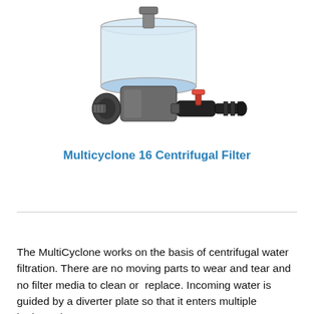[Figure (photo): Photo of a Multicyclone 16 Centrifugal Filter showing a transparent bowl on top with grey and black body, a red-handled ball valve on the right side, and a black hose barb fitting.]
Multicyclone 16 Centrifugal Filter
The MultiCyclone works on the basis of centrifugal water filtration. There are no moving parts to wear and tear and no filter media to clean or  replace. Incoming water is guided by a diverter plate so that it enters multiple hydrocyclones